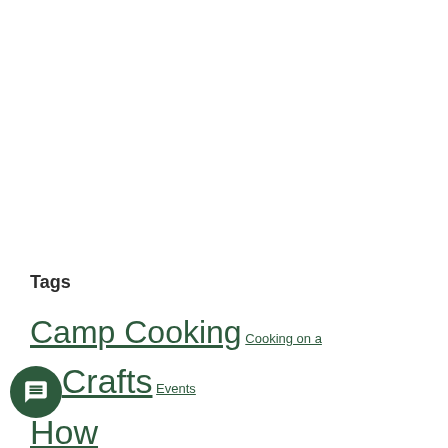Tags
Camp Cooking  Cooking on a Stick  Crafts  Events  How to  Humor  Ideas  Inspiration  (Minutes)  Prayers and Graces  Projects  Puzzles  Recipes  Skits  Trail Food